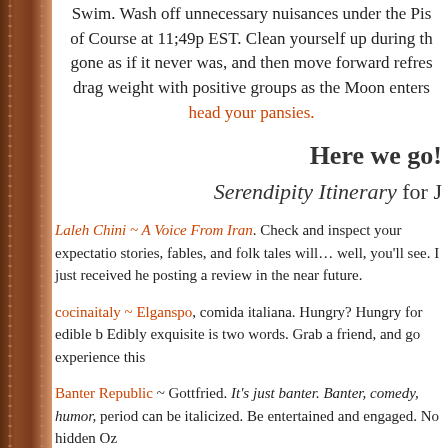Swim. Wash off unnecessary nuisances under the Pis of Course at 11;49p EST. Clean yourself up during th gone as if it never was, and then move forward refres drag weight with positive groups as the Moon enters
head your pansies.
Here we go!
Serendipity Itinerary for J
Laleh Chini ~ A Voice From Iran. Check and inspect your expectatio stories, fables, and folk tales will… well, you'll see. I just received he posting a review in the near future.
cocinaitaly ~ Elganspo, comida italiana. Hungry? Hungry for edible b Edibly exquisite is two words. Grab a friend, and go experience this
Banter Republic ~ Gottfried. It's just banter. Banter, comedy, humor, period can be italicized. Be entertained and engaged. No hidden Oz
Theresa, Soul Gatherings ~ Spiritual Moments in the Human Experi